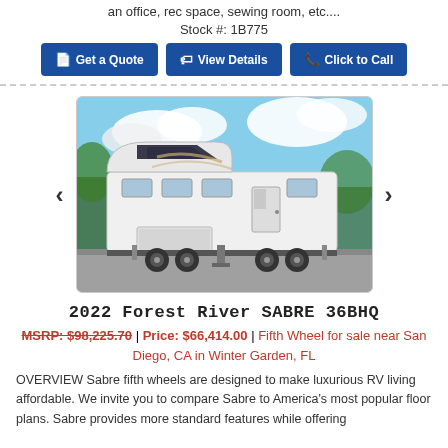an office, rec space, sewing room, etc....
Stock #: 1B775
Get a Quote | View Details | Click to Call
[Figure (photo): Photo of a 2022 Forest River SABRE 36BHQ fifth wheel RV parked in a lot with cloudy blue sky background]
2022 Forest River SABRE 36BHQ
MSRP: $98,225.70 | Price: $66,414.00 | Fifth Wheel for sale near San Diego, CA in Winter Garden, FL
OVERVIEW Sabre fifth wheels are designed to make luxurious RV living affordable. We invite you to compare Sabre to America's most popular floor plans. Sabre provides more standard features while offering